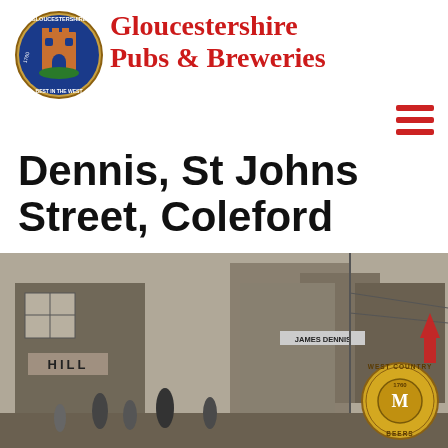[Figure (logo): Gloucestershire Pubs & Breweries circular badge/crest logo with castle tower, blue shield, and '1760 Best in the West' text]
Gloucestershire Pubs & Breweries
[Figure (other): Hamburger menu icon (three horizontal red lines stacked)]
Dennis, St Johns Street, Coleford
[Figure (photo): Black and white historical photograph of St Johns Street, Coleford, showing old shop buildings including one with 'HILL' signage and another with 'JAMES DENNIS' sign, with people on the street. West Country Beers circular logo overlaid bottom right with upward arrow.]